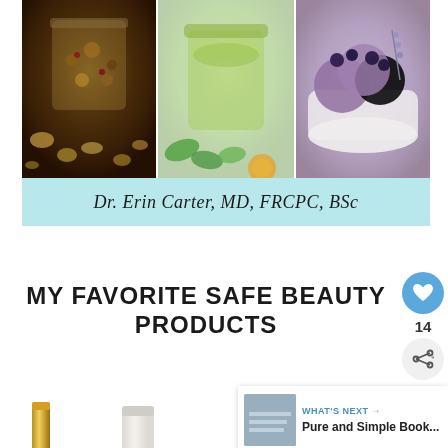[Figure (photo): Three food photos side by side: a jar of granola/trail mix with nuts, a jar of green powder (matcha or similar), and a white bowl of purple blueberry ice cream with fresh blueberries]
Dr. Erin Carter, MD, FRCPC, BSc
MY FAVORITE SAFE BEAUTY PRODUCTS
14
WHAT'S NEXT → Pure and Simple Book...
[Figure (photo): Beauty product photos at the bottom: a gold tube/mascara, a white tube/cream, and a black makeup brush]